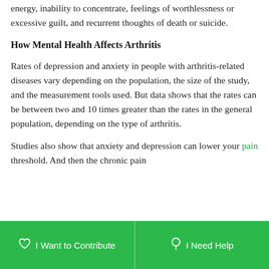energy, inability to concentrate, feelings of worthlessness or excessive guilt, and recurrent thoughts of death or suicide.
How Mental Health Affects Arthritis
Rates of depression and anxiety in people with arthritis-related diseases vary depending on the population, the size of the study, and the measurement tools used. But data shows that the rates can be between two and 10 times greater than the rates in the general population, depending on the type of arthritis.
Studies also show that anxiety and depression can lower your pain threshold. And then the chronic pain
I Want to Contribute   I Need Help